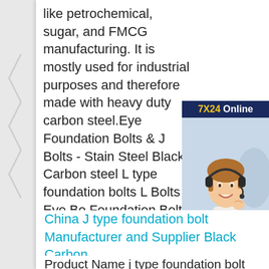like petrochemical, sugar, and FMCG manufacturing. It is mostly used for industrial purposes and therefore made with heavy duty carbon steel.Eye Foundation Bolts & J Bolts - Stain Steel Black Carbon steel L type foundation bolts L Bolts L Eye Bo Foundation Bolts & J Bolts We ar leading Manufacturer of stainless gland eye bolts, lifting eye bolt, gl bolt, eye bolt, ms eye bolt and din bolt from Mumbai, India.
[Figure (photo): 7X24 Online customer service advertisement banner featuring a smiling woman with headset and 'Hello, may I help you?' text with 'Get Latest Price' yellow button]
China J type foundation bolt Manufacturer and Supplier Black Carbon steel L type foundation bolts L Bolts L
Product Name j type foundation bolt